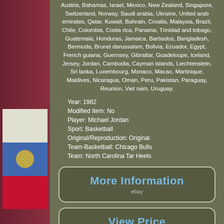Austria, Bahamas, Israel, Mexico, New Zealand, Singapore, Switzerland, Norway, Saudi arabia, Ukraine, United arab emirates, Qatar, Kuwait, Bahrain, Croatia, Malaysia, Brazil, Chile, Colombia, Costa rica, Panama, Trinidad and tobago, Guatemala, Honduras, Jamaica, Barbados, Bangladesh, Bermuda, Brunei darussalam, Bolivia, Ecuador, Egypt, French guiana, Guernsey, Gibraltar, Guadeloupe, Iceland, Jersey, Jordan, Cambodia, Cayman islands, Liechtenstein, Sri lanka, Luxembourg, Monaco, Macao, Martinique, Maldives, Nicaragua, Oman, Peru, Pakistan, Paraguay, Reunion, Viet nam, Uruguay.
Year: 1982
Modified Item: No
Player: Michael Jordan
Sport: Basketball
Original/Reproduction: Original
Team-Basketball: Chicago Bulls
Team: North Carolina Tar Heels
[Figure (other): More Information button with eBay branding]
[Figure (other): View Price button with eBay branding]